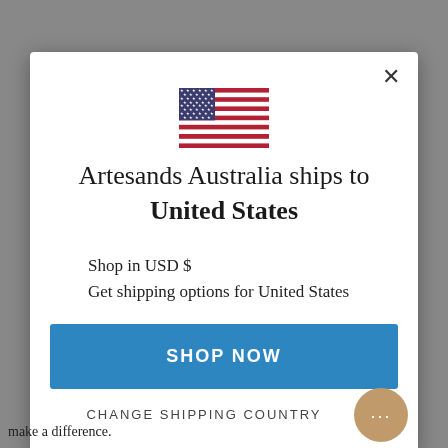[Figure (illustration): US flag SVG illustration centered at top of modal]
Artesands Australia ships to United States
Shop in USD $
Get shipping options for United States
SHOP NOW
CHANGE SHIPPING COUNTRY
make a difference.